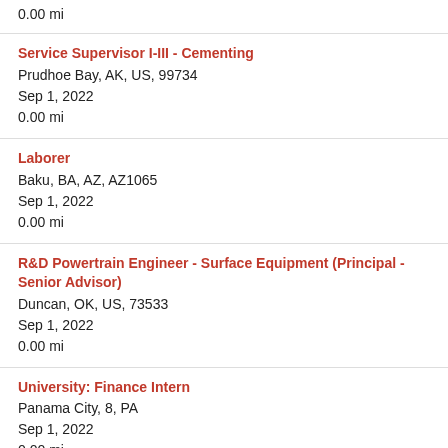0.00 mi
Service Supervisor I-III - Cementing
Prudhoe Bay, AK, US, 99734
Sep 1, 2022
0.00 mi
Laborer
Baku, BA, AZ, AZ1065
Sep 1, 2022
0.00 mi
R&D Powertrain Engineer - Surface Equipment (Principal - Senior Advisor)
Duncan, OK, US, 73533
Sep 1, 2022
0.00 mi
University: Finance Intern
Panama City, 8, PA
Sep 1, 2022
0.00 mi